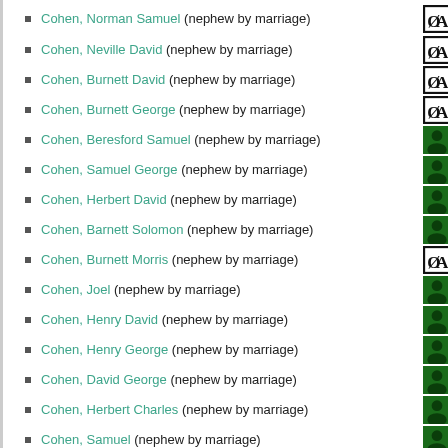Cohen, Norman Samuel (nephew by marriage)
Cohen, Neville David (nephew by marriage)
Cohen, Burnett David (nephew by marriage)
Cohen, Burnett George (nephew by marriage)
Cohen, Beresford Samuel (nephew by marriage)
Cohen, Samuel George (nephew by marriage)
Cohen, Herbert David (nephew by marriage)
Cohen, Barnett Solomon (nephew by marriage)
Cohen, Burnett Morris (nephew by marriage)
Cohen, Joel (nephew by marriage)
Cohen, Henry David (nephew by marriage)
Cohen, Henry George (nephew by marriage)
Cohen, David George (nephew by marriage)
Cohen, Herbert Charles (nephew by marriage)
Cohen, Samuel (nephew by marriage)